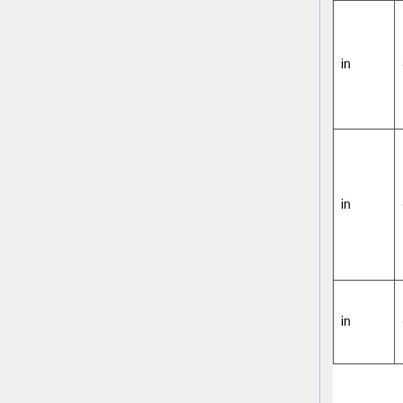| in | out | 4.2 | 4.2 | RF on, Gun off | 0.5 | 0 |
| in | out | 4.2 | 4.2 | Clystron HV on, No RF, Gun off | 0.5 | 0 |
| in | out | 4.2 | 4.2 | whole machine off | 0.5 | 0 |